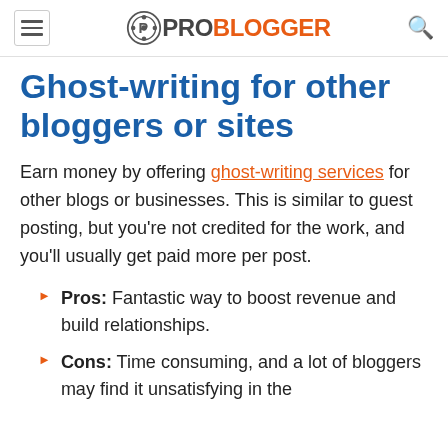ProBlogger
Ghost-writing for other bloggers or sites
Earn money by offering ghost-writing services for other blogs or businesses. This is similar to guest posting, but you're not credited for the work, and you'll usually get paid more per post.
Pros: Fantastic way to boost revenue and build relationships.
Cons: Time consuming, and a lot of bloggers may find it unsatisfying in the